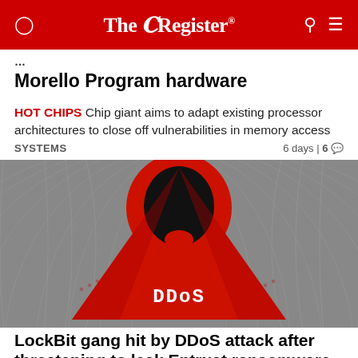The Register
Morello Program hardware
HOT CHIPS Chip giant aims to adapt existing processor architectures to close off vulnerabilities in memory access
SYSTEMS 6 days | 6
[Figure (photo): A stylized image showing a hooded figure in red and black colors with 'DDoS' text on the chest, rendered in a cross-stitch or pixel art style on a gray textile background.]
LockBit gang hit by DDoS attack after threatening to leak Entrust ransomware data